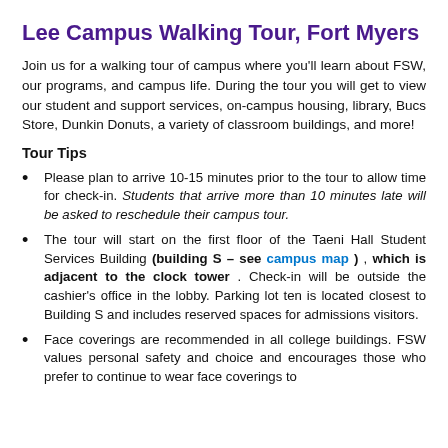Lee Campus Walking Tour, Fort Myers
Join us for a walking tour of campus where you'll learn about FSW, our programs, and campus life. During the tour you will get to view our student and support services, on-campus housing, library, Bucs Store, Dunkin Donuts, a variety of classroom buildings, and more!
Tour Tips
Please plan to arrive 10-15 minutes prior to the tour to allow time for check-in. Students that arrive more than 10 minutes late will be asked to reschedule their campus tour.
The tour will start on the first floor of the Taeni Hall Student Services Building (building S – see campus map) , which is adjacent to the clock tower . Check-in will be outside the cashier's office in the lobby. Parking lot ten is located closest to Building S and includes reserved spaces for admissions visitors.
Face coverings are recommended in all college buildings. FSW values personal safety and choice and encourages those who prefer to continue to wear face coverings to do so.